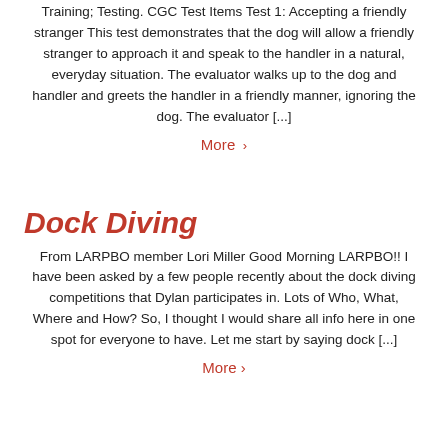Training; Testing. CGC Test Items Test 1: Accepting a friendly stranger This test demonstrates that the dog will allow a friendly stranger to approach it and speak to the handler in a natural, everyday situation. The evaluator walks up to the dog and handler and greets the handler in a friendly manner, ignoring the dog. The evaluator [...]
More >
Dock Diving
From LARPBO member Lori Miller Good Morning LARPBO!! I have been asked by a few people recently about the dock diving competitions that Dylan participates in. Lots of Who, What, Where and How? So, I thought I would share all info here in one spot for everyone to have. Let me start by saying dock [...]
More >